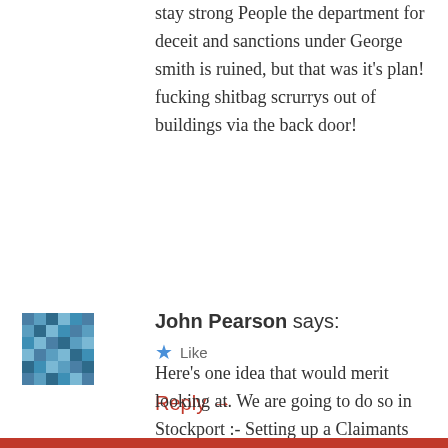stay strong People the department for deceit and sanctions under George smith is ruined, but that was it's plan! fucking shitbag scrurrys out of buildings via the back door!
★ Like
Reply →
[Figure (illustration): Avatar icon with pixel/pattern grid design in blue and teal tones]
John Pearson says:
Here's one idea that would merit looking at. We are going to do so in Stockport :- Setting up a Claimants Union. Here's what has been done in Norwich recently :